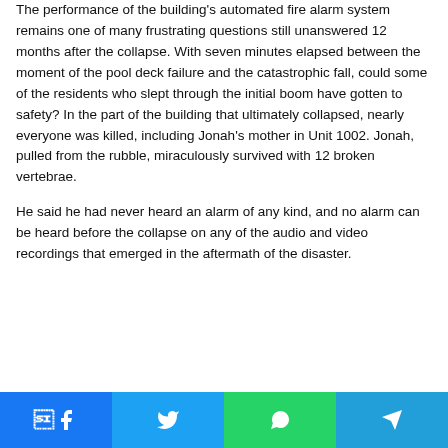The performance of the building's automated fire alarm system remains one of many frustrating questions still unanswered 12 months after the collapse. With seven minutes elapsed between the moment of the pool deck failure and the catastrophic fall, could some of the residents who slept through the initial boom have gotten to safety? In the part of the building that ultimately collapsed, nearly everyone was killed, including Jonah's mother in Unit 1002. Jonah, pulled from the rubble, miraculously survived with 12 broken vertebrae.
He said he had never heard an alarm of any kind, and no alarm can be heard before the collapse on any of the audio and video recordings that emerged in the aftermath of the disaster.
Facebook | Twitter | WhatsApp | Telegram